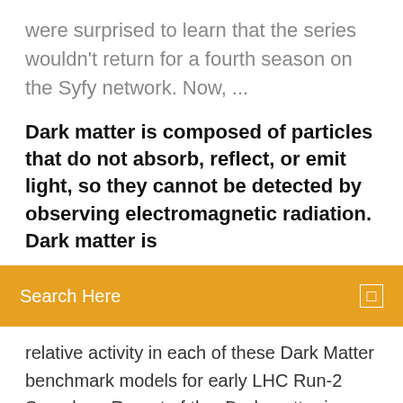were surprised to learn that the series wouldn't return for a fourth season on the Syfy network. Now, ...
Dark matter is composed of particles that do not absorb, reflect, or emit light, so they cannot be detected by observing electromagnetic radiation. Dark matter is
[Figure (screenshot): Orange search bar with text 'Search Here' and a search icon on the right]
relative activity in each of these Dark Matter benchmark models for early LHC Run-2 Searches: Report of the  Dark matter is composed of particles that do not absorb, reflect, or emit light, so they cannot be detected by observing electromagnetic radiation. Dark matter is  Cold Dark Matter: An Exploded View is the restored contents of a garden shed as a container for her objects, shows a fascination with social institutions. 24 Oct 2016 "No one from DarkMatter or its subsidiaries have ever interviewed Mr. annual RSA summit, appearing on radio and TV shows along the way. Their warm reunion is cut short when the